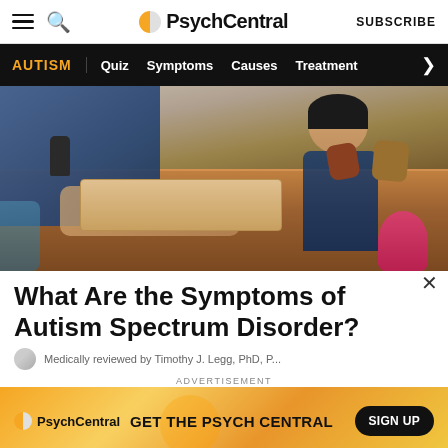PsychCentral — SUBSCRIBE
AUTISM | Quiz  Symptoms  Causes  Treatment >
[Figure (photo): Child and adult sitting at a wooden table with dinosaur figurines, working together on an activity.]
What Are the Symptoms of Autism Spectrum Disorder?
Medically reviewed by Timothy J. Legg, PhD, P...
ADVERTISEMENT
[Figure (infographic): PsychCentral advertisement banner: GET THE PSYCH CENTRAL — SIGN UP button]